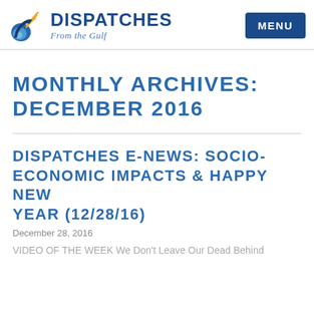DISPATCHES From the Gulf — MENU
MONTHLY ARCHIVES: DECEMBER 2016
DISPATCHES E-NEWS: SOCIO-ECONOMIC IMPACTS & HAPPY NEW YEAR (12/28/16)
December 28, 2016
VIDEO OF THE WEEK We Don't Leave Our Dead Behind